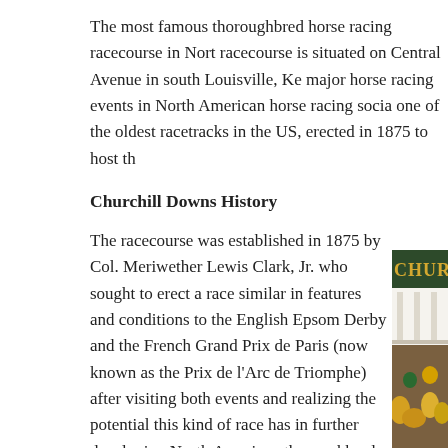The most famous thoroughbred horse racing racecourse in North America, the racecourse is situated on Central Avenue in south Louisville, Ke... major horse racing events in North American horse racing socia... one of the oldest racetracks in the US, erected in 1875 to host th...
Churchill Downs History
The racecourse was established in 1875 by Col. Meriwether Lewis Clark, Jr. who sought to erect a race similar in features and conditions to the English Epsom Derby and the French Grand Prix de Paris (now known as the Prix de l’Arc de Triomphe) after visiting both events and realizing the potential this kind of race has in further developing North American thoroughbred racing. The Churchill Downs racetrack was built upon 80 acres leased to Clark by his relatives John and Henry Churchill which the racet...
[Figure (photo): Photo of Churchill Downs building exterior showing the CHURC(HILL DOWNS) signage with white columns and crowds with flowers in foreground]